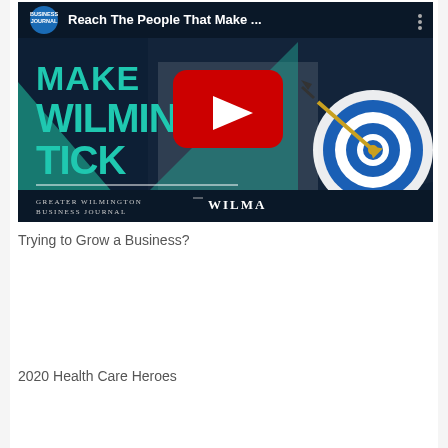[Figure (screenshot): YouTube video thumbnail for Greater Wilmington Business Journal / WILMA with title 'Reach The People That Make...' showing 'MAKE WILMINGTON TICK' text on dark navy background with target/bullseye graphic and YouTube play button overlay.]
Trying to Grow a Business?
2020 Health Care Heroes